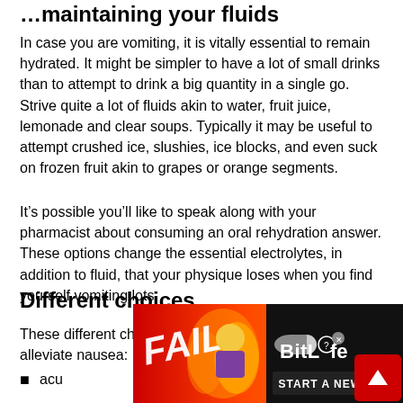Maintaining your fluids
In case you are vomiting, it is vitally essential to remain hydrated. It might be simpler to have a lot of small drinks than to attempt to drink a big quantity in a single go. Strive quite a lot of fluids akin to water, fruit juice, lemonade and clear soups. Typically it may be useful to attempt crushed ice, slushies, ice blocks, and even suck on frozen fruit akin to grapes or orange segments.
It’s possible you’ll like to speak along with your pharmacist about consuming an oral rehydration answer. These options change the essential electrolytes, in addition to fluid, that your physique loses when you find yourself vomiting lots.
Different choices
These different choices may additionally assist to alleviate nausea:
acu...
[Figure (screenshot): BitLife advertisement banner with FAIL text, animated character, flame graphics, and START A NEW LIFE text on black background]